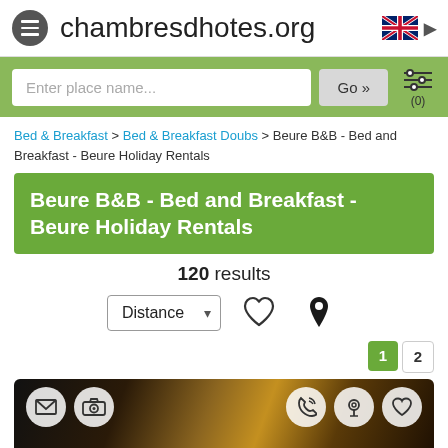chambresdhotes.org
Enter place name... Go »  (0)
Bed & Breakfast > Bed & Breakfast Doubs > Beure B&B - Bed and Breakfast - Beure Holiday Rentals
Beure B&B - Bed and Breakfast - Beure Holiday Rentals
120 results
Distance
[Figure (screenshot): Listing photo of a bed and breakfast property showing a wooden building exterior at night with warm lighting]